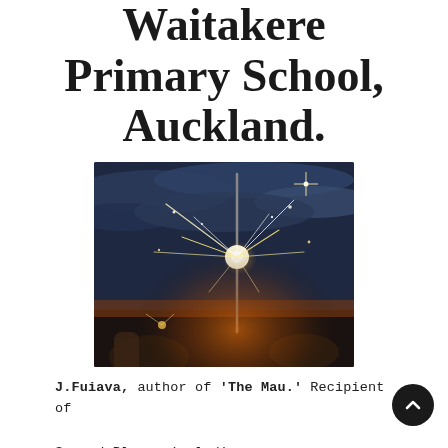Waitakere Primary School, Auckland.
[Figure (photo): A hand holding a lit sparkler against a dramatic dusk sky with clouds and a warm orange horizon. Sparks fly outward from the burning sparkler tip.]
J.Fuiava, author of 'The Mau.' Recipient of Second Place, including